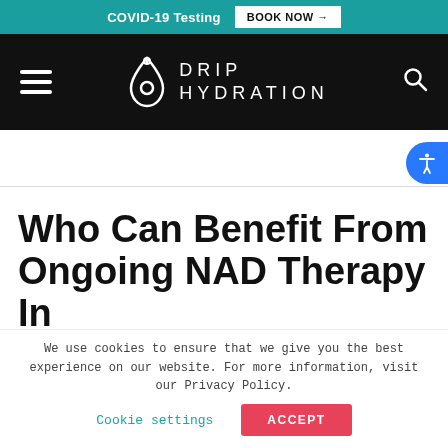COVID-19 Testing  BOOK NOW →
[Figure (logo): Drip Hydration logo with water drop icon and navigation bar on black background]
Who Can Benefit From Ongoing NAD Therapy In
We use cookies to ensure that we give you the best experience on our website. For more information, visit our Privacy Policy.
Cookie settings  ACCEPT